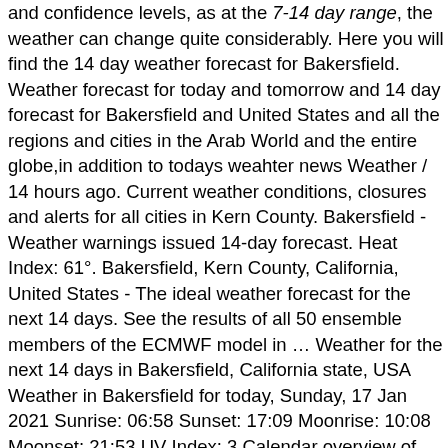and confidence levels, as at the 7-14 day range, the weather can change quite considerably. Here you will find the 14 day weather forecast for Bakersfield. Weather forecast for today and tomorrow and 14 day forecast for Bakersfield and United States and all the regions and cities in the Arab World and the entire globe,in addition to todays weahter news Weather / 14 hours ago. Current weather conditions, closures and alerts for all cities in Kern County. Bakersfield - Weather warnings issued 14-day forecast. Heat Index: 61°. Bakersfield, Kern County, California, United States - The ideal weather forecast for the next 14 days. See the results of all 50 ensemble members of the ECMWF model in … Weather for the next 14 days in Bakersfield, California state, USA Weather in Bakersfield for today, Sunday, 17 Jan 2021 Sunrise: 06:58 Sunset: 17:09 Moonrise: 10:08 Moonset: 21:53 UV Index: 3 Calendar overview of Months Weather Forecast. MyForecast is a comprehensive resource for online weather forecasts and reports for over … Bakersfield - CA Weather Forecast. Bakersfield 58 ° Sponsored By. Alissa Carlson's Tuesday PM